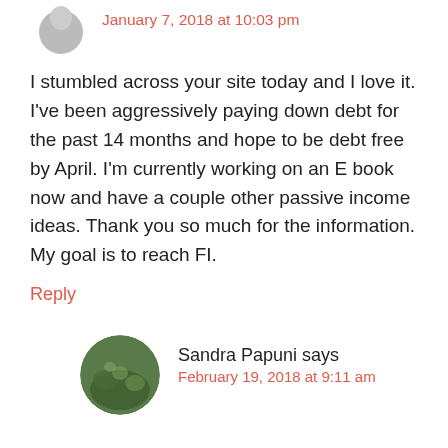January 7, 2018 at 10:03 pm
I stumbled across your site today and I love it. I’ve been aggressively paying down debt for the past 14 months and hope to be debt free by April. I’m currently working on an E book now and have a couple other passive income ideas. Thank you so much for the information. My goal is to reach FI.
Reply
Sandra Papuni says
February 19, 2018 at 9:11 am